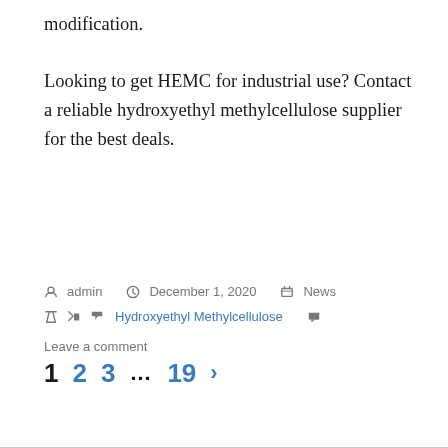modification.
Looking to get HEMC for industrial use? Contact a reliable hydroxyethyl methylcellulose supplier for the best deals.
admin   December 1, 2020   News   Hydroxyethyl Methylcellulose   Leave a comment
1  2  3  ...  19  >